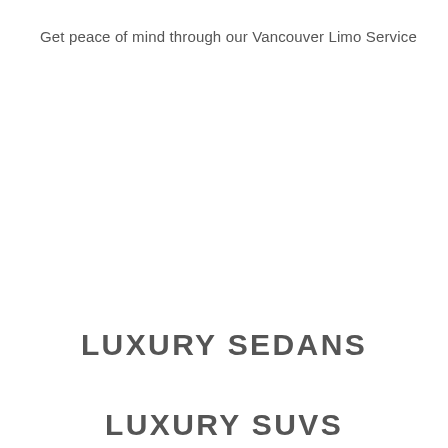Get peace of mind through our Vancouver Limo Service
LUXURY SEDANS
LUXURY SUVS